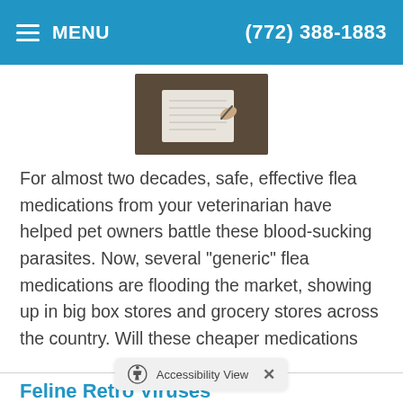MENU  (772) 388-1883
[Figure (photo): A person writing on a document/notepad on a dark surface, viewed from above.]
For almost two decades, safe, effective flea medications from your veterinarian have helped pet owners battle these blood-sucking parasites. Now, several "generic" flea medications are flooding the market, showing up in big box stores and grocery stores across the country. Will these cheaper medications
Read more
Feline Retro Viruses
Category: Video Newsm...